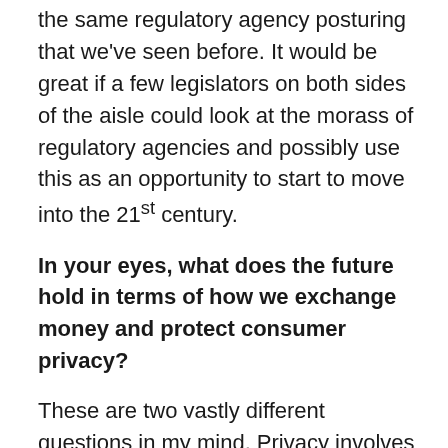the same regulatory agency posturing that we've seen before. It would be great if a few legislators on both sides of the aisle could look at the morass of regulatory agencies and possibly use this as an opportunity to start to move into the 21st century.
In your eyes, what does the future hold in terms of how we exchange money and protect consumer privacy?
These are two vastly different questions in my mind. Privacy involves ownership, in this case of personal data. Like other assets that one owns: it can be sold, traded and sometimes